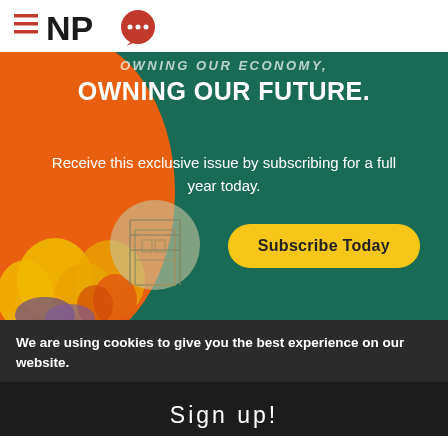NPQ
[Figure (illustration): NPQ subscription banner with teal/green background, orange arc on left, flowers and building illustration at bottom left. Text reads 'OWNING OUR ECONOMY, OWNING OUR FUTURE. Receive this exclusive issue by subscribing for a full year today.' with a yellow 'Subscribe Today' button.]
We are using cookies to give you the best experience on our website.
Sign up!